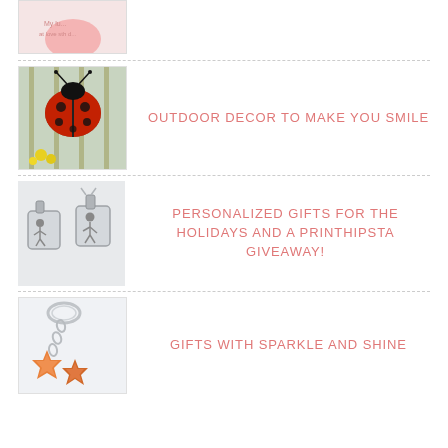[Figure (photo): Partial top image showing a child in a pink shirt, cropped at top]
[Figure (photo): Ladybug outdoor decor ornament on a garden fence with yellow flowers]
OUTDOOR DECOR TO MAKE YOU SMILE
[Figure (photo): Personalized silver cufflinks with child drawing engraved on them]
PERSONALIZED GIFTS FOR THE HOLIDAYS AND A PRINTHIPSTA GIVEAWAY!
[Figure (photo): Keychain with starfish charms in orange/gold color]
GIFTS WITH SPARKLE AND SHINE